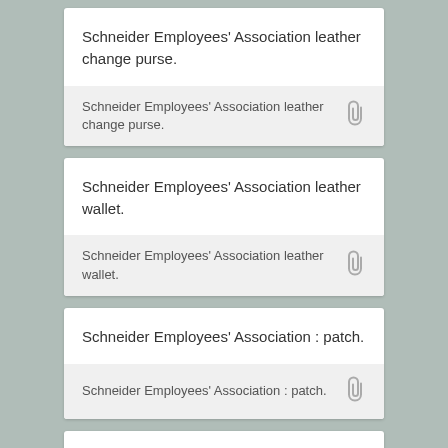Schneider Employees' Association leather change purse.
Schneider Employees' Association leather change purse.
Schneider Employees' Association leather wallet.
Schneider Employees' Association leather wallet.
Schneider Employees' Association : patch.
Schneider Employees' Association : patch.